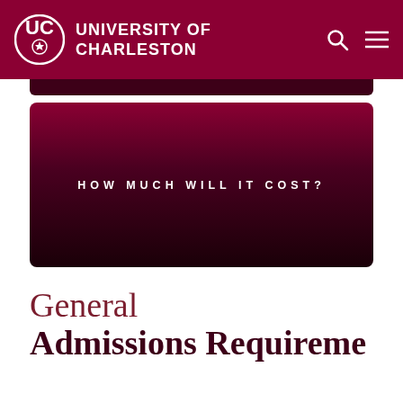UNIVERSITY OF CHARLESTON
[Figure (other): Dark maroon banner strip at top of content area]
[Figure (other): Dark maroon card with centered text HOW MUCH WILL IT COST?]
General Admissions Requirements